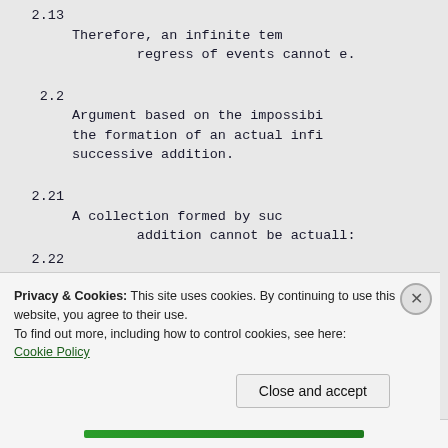2.13 Therefore, an infinite temporal regress of events cannot exist.
2.2 Argument based on the impossibility of the formation of an actual infinite by successive addition.
2.21 A collection formed by successive addition cannot be actually infinite.
2.22 The temporal series of past events is a collection formed by successive addition.
Privacy & Cookies: This site uses cookies. By continuing to use this website, you agree to their use. To find out more, including how to control cookies, see here: Cookie Policy
Close and accept